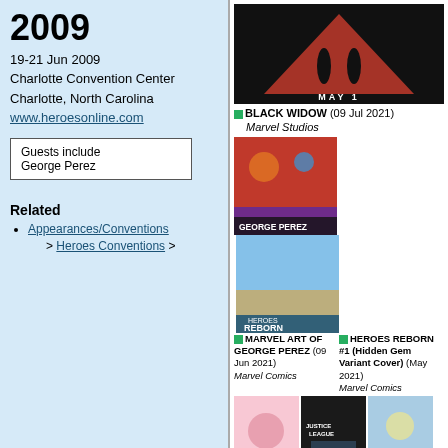2009
19-21 Jun 2009
Charlotte Convention Center
Charlotte, North Carolina
www.heroesonline.com
Guests include
George Perez
Related
Appearances/Conventions > Heroes Conventions >
[Figure (photo): Black Widow movie poster with red triangle/figures on black background, text MAY 1]
BLACK WIDOW (09 Jul 2021)
Marvel Studios
[Figure (photo): Marvel Art of George Perez comic cover with multiple heroes]
[Figure (photo): Heroes Reborn #1 Hidden Gem Variant Cover with heroes in colorful scene]
MARVEL ART OF GEORGE PEREZ (09 Jun 2021)
Marvel Comics
HEROES REBORN #1 (Hidden Gem Variant Cover) (May 2021)
Marvel Comics
[Figure (photo): The Gentlewoman #23 UK magazine cover]
[Figure (photo): Zack Snyder's Justice League movie poster]
[Figure (photo): Comic Shop News #1750 cover]
THE GENTLEWOMAN #23 (UK) (Spr/Sum 2021)
ZACK SNYDER'S JUSTICE LEAGUE (18 Mar 2021)
COMIC SHOP NEWS #1750 (03 Mar 2021)
Comic Shop News